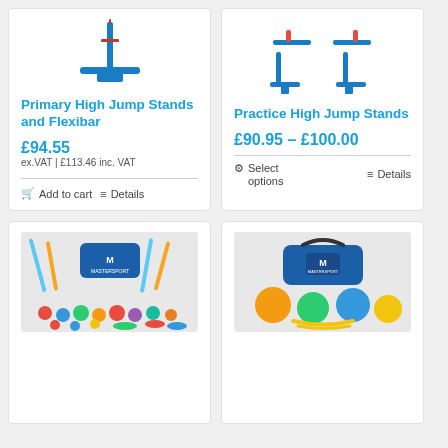[Figure (photo): Primary High Jump Stands and Flexibar product image - blue metal stand with T-bar base]
Primary High Jump Stands and Flexibar
£94.55 ex.VAT | £113.46 inc. VAT
Add to cart | Details
[Figure (photo): Practice High Jump Stands product image - blue foam/rubber hurdle stands]
Practice High Jump Stands
£90.95 – £100.00
Select options | Details
[Figure (photo): Athletics coaching kit set with colourful cones, balls, batons and Mastersport bag]
[Figure (photo): Mastersport bag with colourful foam balls and yellow resistance bands]